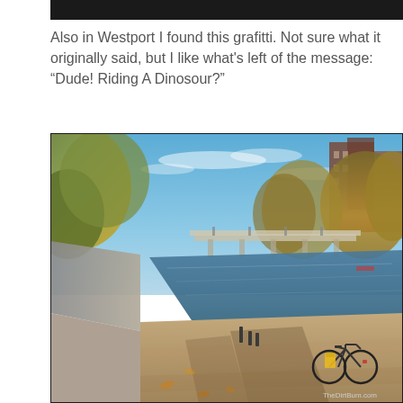[Figure (photo): Dark bar at top, partial image remnant]
Also in Westport I found this grafitti. Not sure what it originally said, but I like what's left of the message: “Dude! Riding A Dinosour?”
[Figure (photo): Outdoor photo of a riverside path with a bicycle parked along a concrete wall next to a calm river, with trees in autumn foliage, a bridge in the background, buildings on the right, and blue sky with light clouds. Watermark reads TheDirtBum.com.]